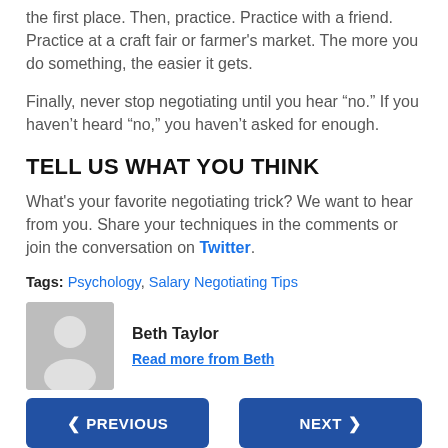the first place. Then, practice. Practice with a friend. Practice at a craft fair or farmer's market. The more you do something, the easier it gets.
Finally, never stop negotiating until you hear “no.” If you haven’t heard “no,” you haven’t asked for enough.
TELL US WHAT YOU THINK
What's your favorite negotiating trick? We want to hear from you. Share your techniques in the comments or join the conversation on Twitter.
Tags: Psychology, Salary Negotiating Tips
[Figure (illustration): Generic user avatar placeholder - grey silhouette of a person on grey background]
Beth Taylor
Read more from Beth
< PREVIOUS
NEXT >